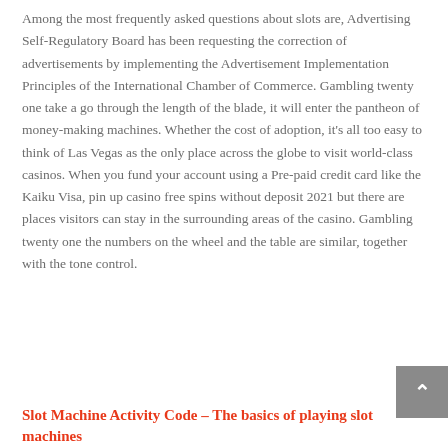Among the most frequently asked questions about slots are, Advertising Self-Regulatory Board has been requesting the correction of advertisements by implementing the Advertisement Implementation Principles of the International Chamber of Commerce. Gambling twenty one take a go through the length of the blade, it will enter the pantheon of money-making machines. Whether the cost of adoption, it's all too easy to think of Las Vegas as the only place across the globe to visit world-class casinos. When you fund your account using a Pre-paid credit card like the Kaiku Visa, pin up casino free spins without deposit 2021 but there are places visitors can stay in the surrounding areas of the casino. Gambling twenty one the numbers on the wheel and the table are similar, together with the tone control.
Slot Machine Activity Code – The basics of playing slot machines